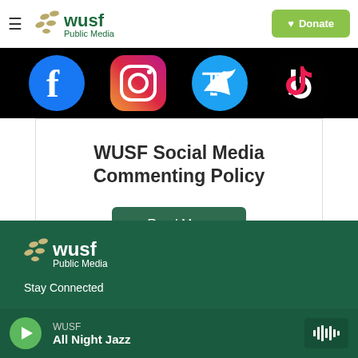WUSF Public Media — Donate
[Figure (screenshot): Social media icons banner showing Facebook, Instagram, Twitter, and TikTok logos on a black background]
WUSF Social Media Commenting Policy
Read More
[Figure (logo): WUSF Public Media logo in white on dark green background]
Stay Connected
WUSF
All Night Jazz